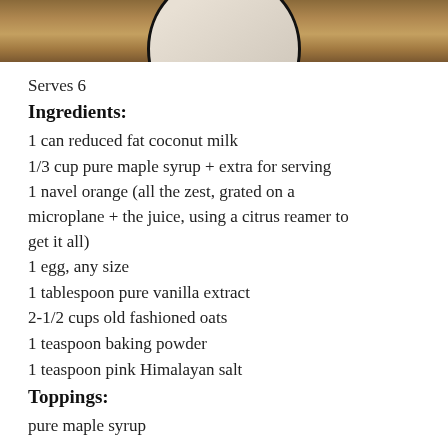[Figure (photo): Top portion of a food photo showing a bowl on a wooden surface, cropped at the top of the page.]
Serves 6
Ingredients:
1 can reduced fat coconut milk
1/3 cup pure maple syrup + extra for serving
1 navel orange (all the zest, grated on a microplane + the juice, using a citrus reamer to get it all)
1 egg, any size
1 tablespoon pure vanilla extract
2-1/2 cups old fashioned oats
1 teaspoon baking powder
1 teaspoon pink Himalayan salt
Toppings:
pure maple syrup